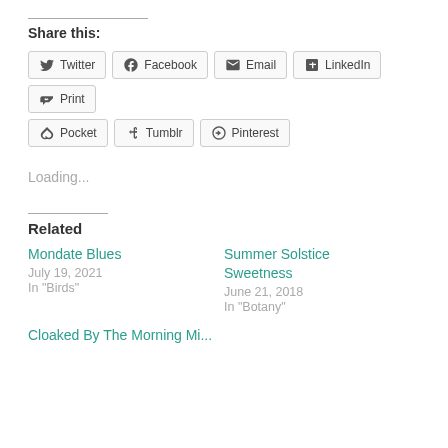Share this:
Twitter | Facebook | Email | LinkedIn | Print | Pocket | Tumblr | Pinterest
Loading...
Related
Mondate Blues
July 19, 2021
In "Birds"
Summer Solstice Sweetness
June 21, 2018
In "Botany"
Cloaked By The Morning Mi...